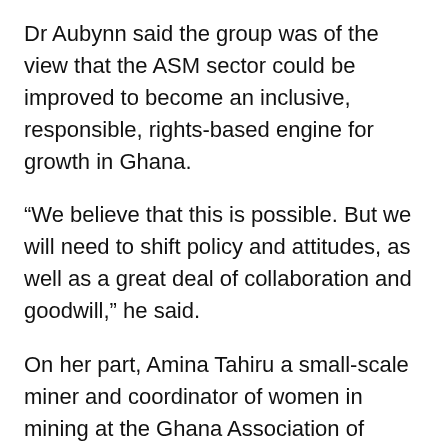Dr Aubynn said the group was of the view that the ASM sector could be improved to become an inclusive, responsible, rights-based engine for growth in Ghana.
“We believe that this is possible. But we will need to shift policy and attitudes, as well as a great deal of collaboration and goodwill,” he said.
On her part, Amina Tahiru a small-scale miner and coordinator of women in mining at the Ghana Association of Small-Scale Miners (GNASSM) also called for commitment, adding “We have to commit ourselves to responsible mining practices so we can have the respect of Ghanaian society. Many small scale miners are